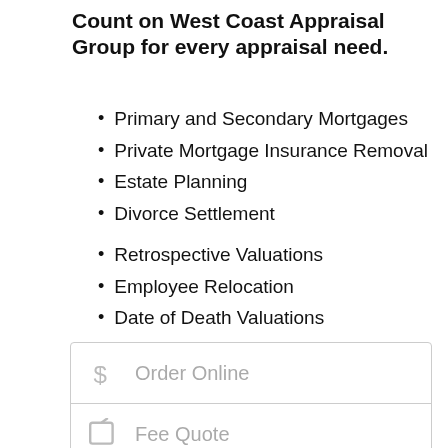Count on West Coast Appraisal Group for every appraisal need.
Primary and Secondary Mortgages
Private Mortgage Insurance Removal
Estate Planning
Divorce Settlement
Retrospective Valuations
Employee Relocation
Date of Death Valuations
Tax Assessment
Order Online
Fee Quote
Services
Contact Us